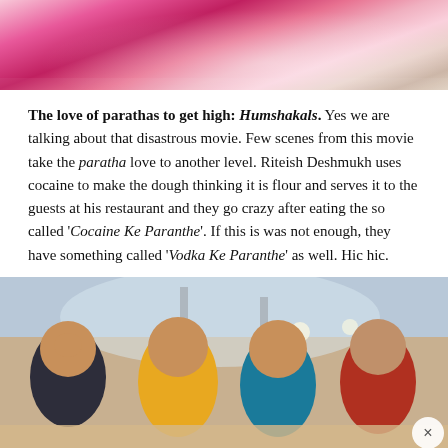[Figure (photo): Top portion of a photo showing people in pink/floral clothing, cropped at the top of the page]
The love of parathas to get high: Humshakals. Yes we are talking about that disastrous movie. Few scenes from this movie take the paratha love to another level. Riteish Deshmukh uses cocaine to make the dough thinking it is flour and serves it to the guests at his restaurant and they go crazy after eating the so called 'Cocaine Ke Paranthe'. If this is was not enough, they have something called 'Vodka Ke Paranthe' as well. Hic hic.
[Figure (photo): Movie still showing four actors posing together — three women and one man — in a colorful restaurant/set background]
Advertisements
[Figure (infographic): Advertisement for DAY ONE journaling app. Blue banner with DAY ONE logo, three app icons, and text 'The only journaling app you'll ever need.']